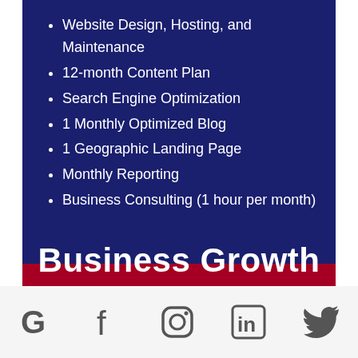Website Design, Hosting, and Maintenance
12-month Content Plan
Search Engine Optimization
1 Monthly Optimized Blog
1 Geographic Landing Page
Monthly Reporting
Business Consulting (1 hour per month)
Business Growth
[Figure (other): Footer social media icons: Google, Facebook, Instagram, LinkedIn, Twitter]